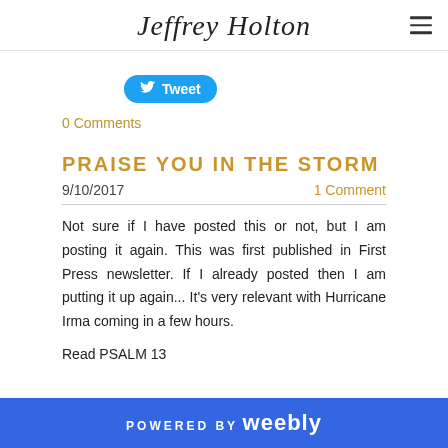Jeffrey Holton
Tweet
0 Comments
PRAISE YOU IN THE STORM
9/10/2017
1 Comment
Not sure if I have posted this or not, but I am posting it again.   This was first published in First Press newsletter.  If I already posted then I am putting it up again... It's very relevant with Hurricane Irma coming in a few hours.
Read PSALM 13
POWERED BY weebly